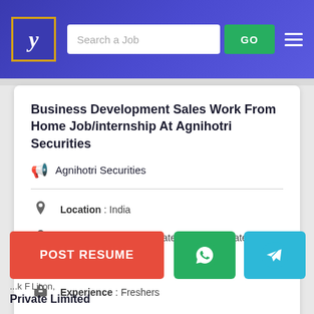[Figure (screenshot): Website header with logo, search bar, GO button, and hamburger menu on a blue gradient background]
Business Development Sales Work From Home Job/internship At Agnihotri Securities
Agnihotri Securities
Location : India
Education : Any Graduate / Post Graduates
Industry : Internship
Experience : Freshers
POST RESUME
Private Limited